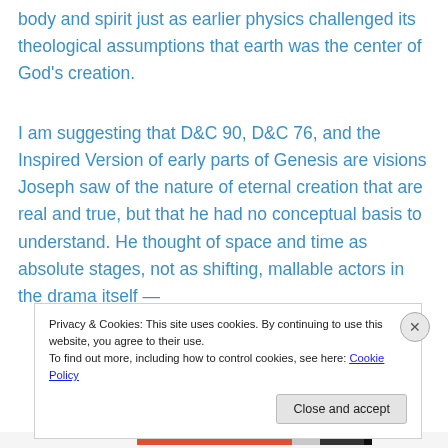body and spirit just as earlier physics challenged its theological assumptions that earth was the center of God's creation.
I am suggesting that D&C 90, D&C 76, and the Inspired Version of early parts of Genesis are visions Joseph saw of the nature of eternal creation that are real and true, but that he had no conceptual basis to understand. He thought of space and time as absolute stages, not as shifting, mallable actors in the drama itself —
Privacy & Cookies: This site uses cookies. By continuing to use this website, you agree to their use.
To find out more, including how to control cookies, see here: Cookie Policy
Close and accept